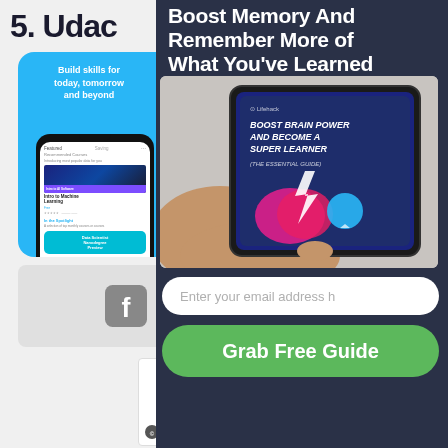5. Udac
[Figure (screenshot): Udacity mobile app screenshot showing 'Build skills for today, tomorrow and beyond' with course listings including Intro to Machine Learning and Data Scientist Nanodegree preview]
[Figure (logo): Facebook logo icon in a grey rounded square]
Boost Memory And Remember More of What You've Learned
[Figure (photo): Person holding a tablet showing a book cover titled 'BOOST BRAIN POWER AND BECOME A SUPER LEARNER (THE ESSENTIAL GUIDE)' from Lifehack, with brain and lightbulb illustration]
Enter your email address h
Grab Free Guide
[Figure (logo): Lifehack logo with copyright symbol and decorative dot pattern in bottom-left corner of page]